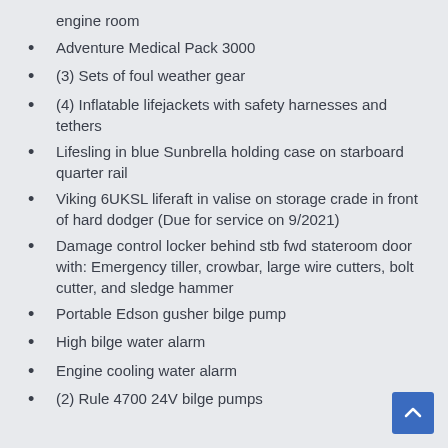engine room
Adventure Medical Pack 3000
(3) Sets of foul weather gear
(4) Inflatable lifejackets with safety harnesses and tethers
Lifesling in blue Sunbrella holding case on starboard quarter rail
Viking 6UKSL liferaft in valise on storage crade in front of hard dodger (Due for service on 9/2021)
Damage control locker behind stb fwd stateroom door with: Emergency tiller, crowbar, large wire cutters, bolt cutter, and sledge hammer
Portable Edson gusher bilge pump
High bilge water alarm
Engine cooling water alarm
(2) Rule 4700 24V bilge pumps